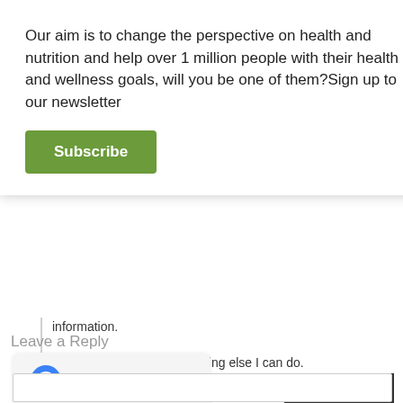Our aim is to change the perspective on health and nutrition and help over 1 million people with their health and wellness goals, will you be one of them?Sign up to our newsletter
Subscribe
information.
Let me know if there's anything else I can do.
REPLY
Leave a Reply
[Figure (illustration): Facebook Messenger 'Message Us' widget button with blue messenger icon and text 'Message Us']
Message Us